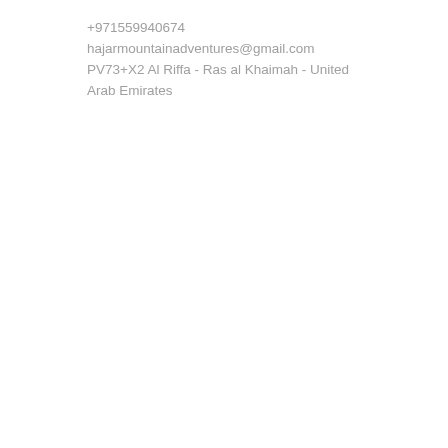+971559940674
hajarmountainadventures@gmail.com
PV73+X2 Al Riffa - Ras al Khaimah - United Arab Emirates